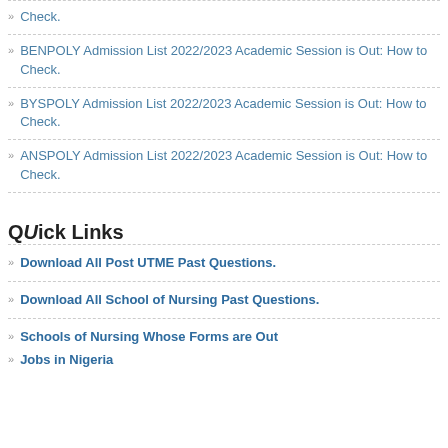Check.
BENPOLY Admission List 2022/2023 Academic Session is Out: How to Check.
BYSPOLY Admission List 2022/2023 Academic Session is Out: How to Check.
ANSPOLY Admission List 2022/2023 Academic Session is Out: How to Check.
QUick Links
Download All Post UTME Past Questions.
Download All School of Nursing Past Questions.
Schools of Nursing Whose Forms are Out
Jobs in Nigeria